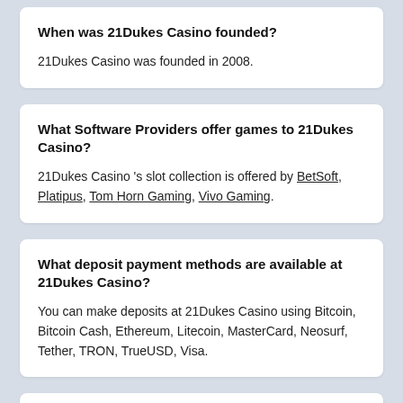When was 21Dukes Casino founded?
21Dukes Casino was founded in 2008.
What Software Providers offer games to 21Dukes Casino?
21Dukes Casino 's slot collection is offered by BetSoft, Platipus, Tom Horn Gaming, Vivo Gaming.
What deposit payment methods are available at 21Dukes Casino?
You can make deposits at 21Dukes Casino using Bitcoin, Bitcoin Cash, Ethereum, Litecoin, MasterCard, Neosurf, Tether, TRON, TrueUSD, Visa.
On what devices can I play at 21Dukes Casino?
You can use 21Dukes Casino's website...